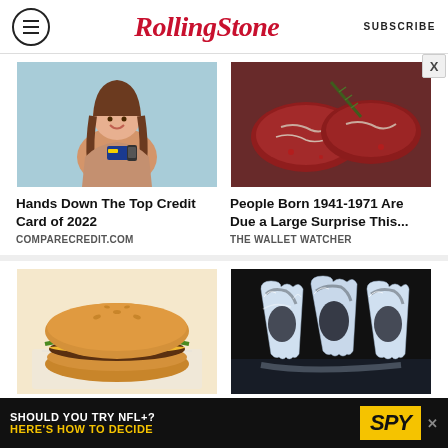Rolling Stone | SUBSCRIBE
[Figure (photo): Woman smiling holding a credit card and phone, light blue background]
Hands Down The Top Credit Card of 2022
COMPARECREDIT.COM
[Figure (photo): Raw red meat steaks with rosemary garnish on dark surface]
People Born 1941-1971 Are Due a Large Surprise This...
THE WALLET WATCHER
[Figure (photo): Cheeseburger on white wrapper paper]
Here Are 7 Legal Discounts Seniors Only Get When...
[Figure (photo): Three crystal/glass teeth on dark background]
Here is What Full Mouth Dental Implants Should...
SHOULD YOU TRY NFL+? HERE'S HOW TO DECIDE | SPY